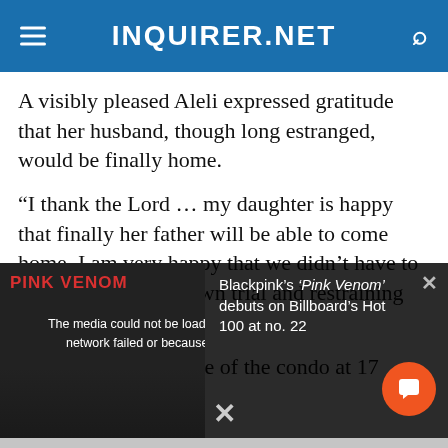INQUIRER.NET
A visibly pleased Aleli expressed gratitude that her husband, though long estranged, would be finally home.
“I thank the Lord … my daughter is happy that finally her father will be able to come home. I am very happy that we didn’t have to go through a full blown trial and restraining order,” she said.
Aleli will be in charge of the condo at 17 Radius St
[Figure (screenshot): Video media player overlay showing 'PINK VENOM' label in red. Error message: 'The media could not be loaded, either because the server or network failed or because the format is not supported.' Right side shows text: Blackpink’s ‘Pink Venom’ debuts on Billboard’s Hot 100 at no. 22. Orange chat button visible bottom right. X dismiss button at bottom center.]